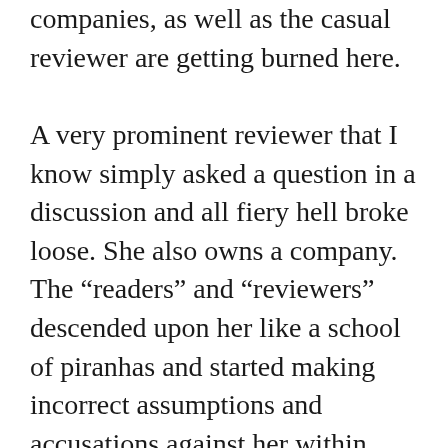companies, as well as the casual reviewer are getting burned here.

A very prominent reviewer that I know simply asked a question in a discussion and all fiery hell broke loose. She also owns a company. The “readers” and “reviewers” descended upon her like a school of piranhas and started making incorrect assumptions and accusations against her within seconds and ran her out after tarring and feathering her. That is the point of a discussion among real readers and reviewers, isn’t it? To discuss books? You would think! She had just recovered from a different attack, so this was